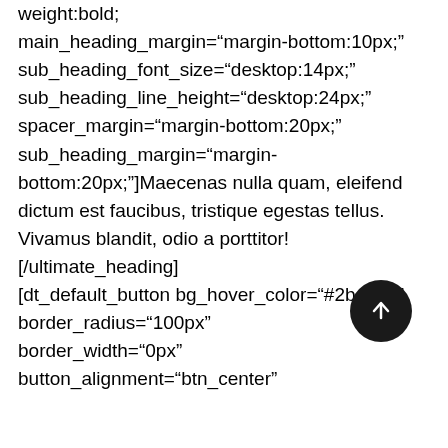weight:bold;
main_heading_margin="margin-bottom:10px;"
sub_heading_font_size="desktop:14px;"
sub_heading_line_height="desktop:24px;"
spacer_margin="margin-bottom:20px;"
sub_heading_margin="margin-bottom:20px;"]Maecenas nulla quam, eleifend dictum est faucibus, tristique egestas tellus. Vivamus blandit, odio a porttitor![/ultimate_heading]
[dt_default_button bg_hover_color="#2ba090"
border_radius="100px"
border_width="0px"
button_alignment="btn_center"